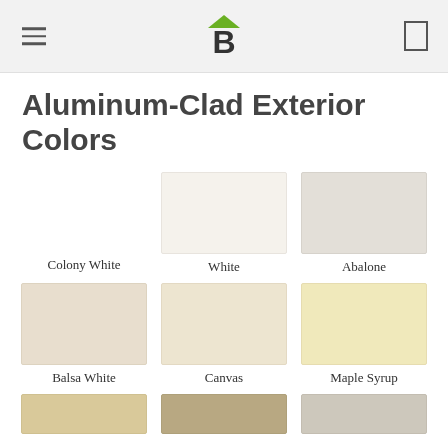Buildertrend logo
Aluminum-Clad Exterior Colors
[Figure (infographic): Color swatches grid showing aluminum-clad exterior colors: Colony White (no swatch shown), White (very light off-white), Abalone (light gray), Balsa White (light warm beige), Canvas (light cream), Maple Syrup (pale yellow), and three more partially visible at bottom.]